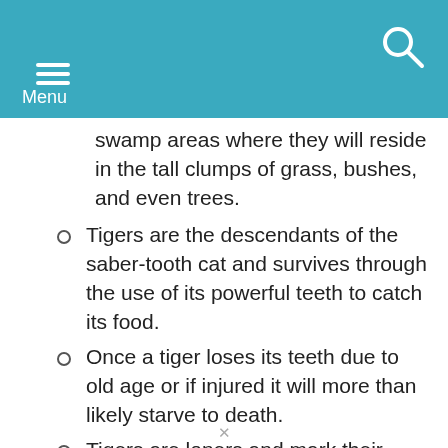Menu
swamp areas where they will reside in the tall clumps of grass, bushes, and even trees.
Tigers are the descendants of the saber-tooth cat and survives through the use of its powerful teeth to catch its food.
Once a tiger loses its teeth due to old age or if injured it will more than likely starve to death.
Tigers are loners and mark their territories with their scent as a warning to their rivals.
A tiger is one of the most feared of all of the predators and it can kill animals that are twice its own size.